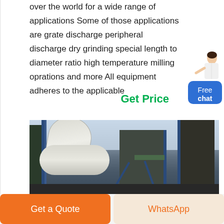over the world for a wide range of applications Some of those applications are grate discharge peripheral discharge dry grinding special length to diameter ratio high temperature milling oprations and more All equipment adheres to the applicable
Get Price
[Figure (photo): Industrial milling/grinding facility with large white pipes, blue steel structure, and industrial equipment against a cloudy sky]
Free chat
Get a Quote
WhatsApp